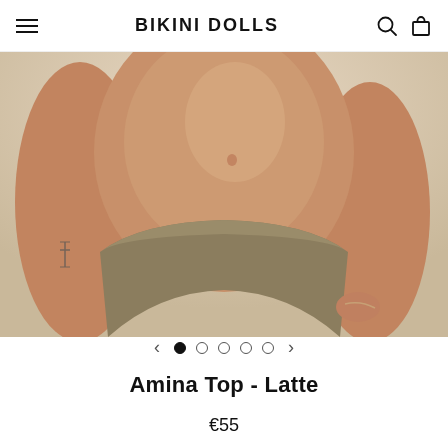BIKINI DOLLS
[Figure (photo): Close-up product photo of a woman wearing a latte-colored bikini bottom against a neutral beige background. A small tattoo is visible on her arm.]
Amina Top - Latte
€55